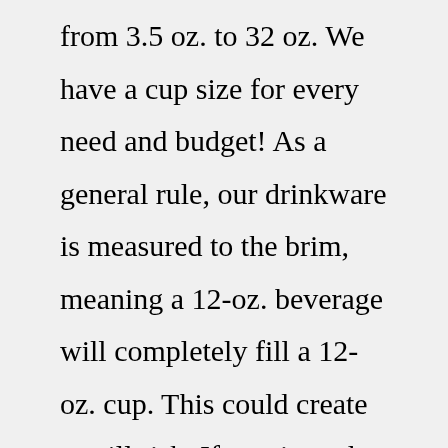from 3.5 oz. to 32 oz. We have a cup size for every need and budget! As a general rule, our drinkware is measured to the brim, meaning a 12-oz. beverage will completely fill a 12-oz. cup. This could create a spill risk. If you intend to serve 12-oz. beverages, we recommend ordering 16-oz. cups or larger. Plastic cups personalized, Custom plastic cups, Plastic cups with names, Cups with names, Customized plastic cups, Names on cups, StitchedMagic